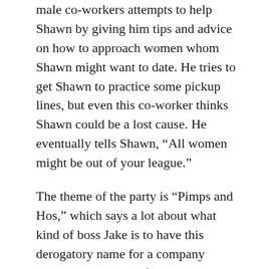male co-workers attempts to help Shawn by giving him tips and advice on how to approach women whom Shawn might want to date. He tries to get Shawn to practice some pickup lines, but even this co-worker thinks Shawn could be a lost cause. He eventually tells Shawn, “All women might be out of your league.”
The theme of the party is “Pimps and Hos,” which says a lot about what kind of boss Jake is to have this derogatory name for a company event. Viewers later find out that Jake hired female sex workers to be at the party, but most of the company employees don’t know it. One of these sex workers is named Violet (played by Cora Cleary), who is about the same age as Shawn or maybe slightly older. She’s definitely got a lot more life experience than Shawn, who sees her at the party and is immediately attracted to her.
Shawn and Violet have an awkward first conversation.